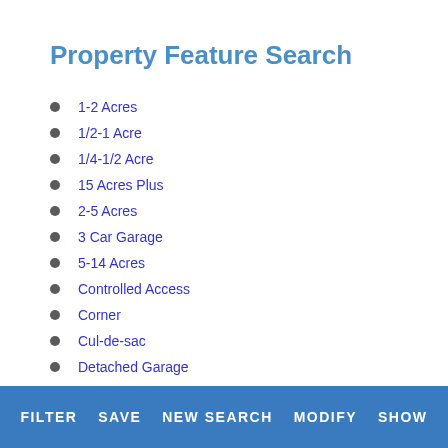Property Feature Search
1-2 Acres
1/2-1 Acre
1/4-1/2 Acre
15 Acres Plus
2-5 Acres
3 Car Garage
5-14 Acres
Controlled Access
Corner
Cul-de-sac
Detached Garage
Detached Quarters
FILTER   SAVE   NEW SEARCH   MODIFY   SHOW